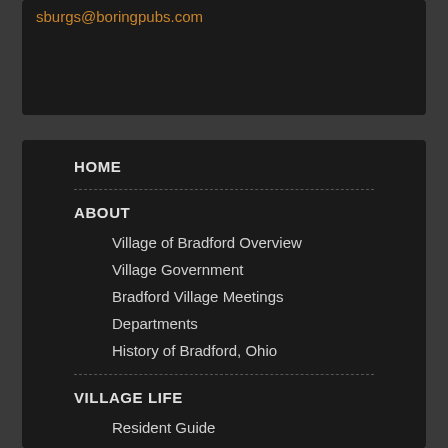sburgs@boringpubs.com
HOME
ABOUT
Village of Bradford Overview
Village Government
Bradford Village Meetings
Departments
History of Bradford, Ohio
VILLAGE LIFE
Resident Guide
Village Ordinances
Bradford Schools
Bradford Public Library
Church Directory